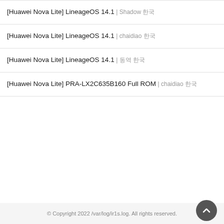[Huawei Nova Lite] LineageOS 14.1 | Shadow 한국
[Huawei Nova Lite] LineageOS 14.1 | chaidiao 한국
[Huawei Nova Lite] LineageOS 14.1 | 동역 한국
[Huawei Nova Lite] PRA-LX2C635B160 Full ROM | chaidiao 한국
© Copyright 2022 /var/log/ir1s.log. All rights reserved.